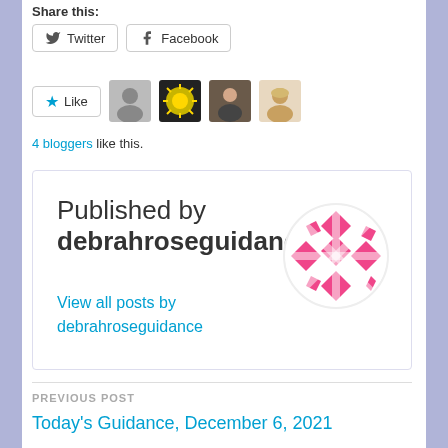Share this:
Twitter  Facebook (share buttons)
Like  [4 blogger avatars]
4 bloggers like this.
Published by debrahroseguidance
View all posts by debrahroseguidance
PREVIOUS POST
Today's Guidance, December 6, 2021